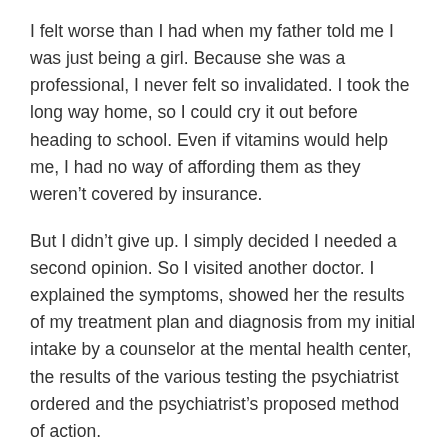I felt worse than I had when my father told me I was just being a girl. Because she was a professional, I never felt so invalidated. I took the long way home, so I could cry it out before heading to school. Even if vitamins would help me, I had no way of affording them as they weren't covered by insurance.
But I didn't give up. I simply decided I needed a second opinion. So I visited another doctor. I explained the symptoms, showed her the results of my treatment plan and diagnosis from my initial intake by a counselor at the mental health center, the results of the various testing the psychiatrist ordered and the psychiatrist's proposed method of action.